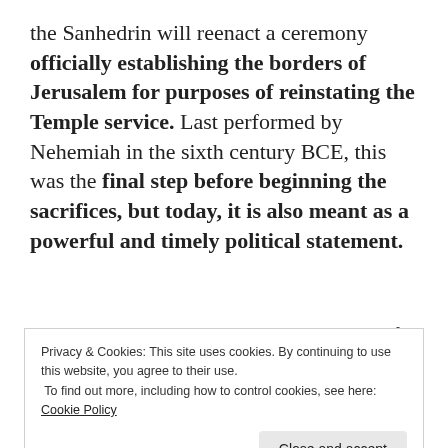the Sanhedrin will reenact a ceremony officially establishing the borders of Jerusalem for purposes of reinstating the Temple service. Last performed by Nehemiah in the sixth century BCE, this was the final step before beginning the sacrifices, but today, it is also meant as a powerful and timely political statement.
Shavuot 2017 will begin in the evening of
Tuesday, May 30
Privacy & Cookies: This site uses cookies. By continuing to use this website, you agree to their use.
To find out more, including how to control cookies, see here: Cookie Policy
Rabbi Hillel Weiss, spokesman for the nascent